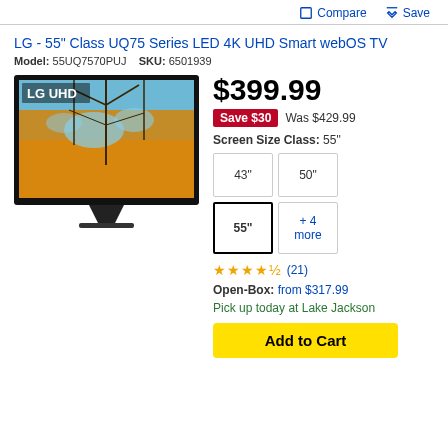Compare  Save
LG - 55" Class UQ75 Series LED 4K UHD Smart webOS TV
Model: 55UQ7570PUJ   SKU: 6501939
[Figure (photo): LG UHD TV product photo showing the TV with a colorful autumn trees display, TV stand visible at bottom, LG UHD branding on screen]
$399.99
Save $30  Was $429.99
Screen Size Class: 55"
43"  50"  55"  + 4 more
(21)
Open-Box: from $317.99
Pick up today at Lake Jackson
Add to Cart